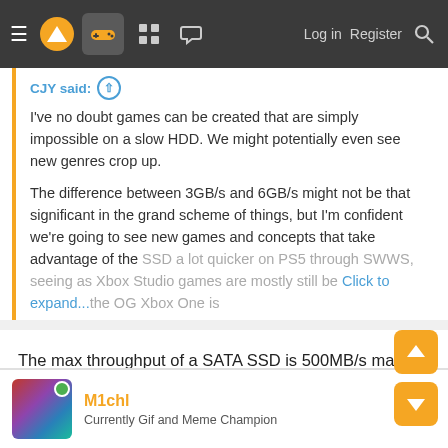Navigation bar with hamburger menu, logo, controller icon, grid icon, chat icon, Log in, Register, Search
CJY said: ↑
I've no doubt games can be created that are simply impossible on a slow HDD. We might potentially even see new genres crop up.

The difference between 3GB/s and 6GB/s might not be that significant in the grand scheme of things, but I'm confident we're going to see new games and concepts that take advantage of the SSD a lot quicker on PS5 through SWWS, seeing as Xbox Studio games are mostly still be... [Click to expand...]
The max throughput of a SATA SSD is 500MB/s max. And most hard drives manage only about 100MB/s.
thicc_girls_are_teh_best
M1chl
Currently Gif and Meme Champion